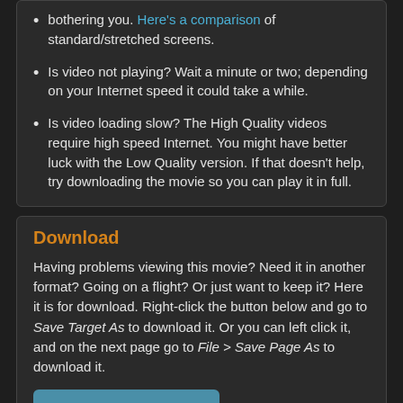bothering you. Here's a comparison of standard/stretched screens.
Is video not playing? Wait a minute or two; depending on your Internet speed it could take a while.
Is video loading slow? The High Quality videos require high speed Internet. You might have better luck with the Low Quality version. If that doesn't help, try downloading the movie so you can play it in full.
Download
Having problems viewing this movie? Need it in another format? Going on a flight? Or just want to keep it? Here it is for download. Right-click the button below and go to Save Target As to download it. Or you can left click it, and on the next page go to File > Save Page As to download it.
Download Movie (MP4)   529 MB
MP4 plays natively on pretty much everything: computers, TVs, smartphones, tablets, video game systems, set top